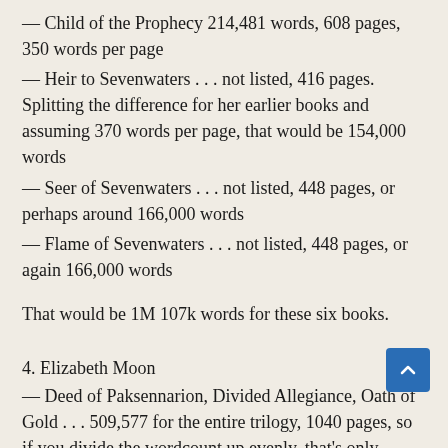— Child of the Prophecy 214,481 words, 608 pages, 350 words per page
— Heir to Sevenwaters . . . not listed, 416 pages. Splitting the difference for her earlier books and assuming 370 words per page, that would be 154,000 words
— Seer of Sevenwaters . . . not listed, 448 pages, or perhaps around 166,000 words
— Flame of Sevenwaters . . . not listed, 448 pages, or again 166,000 words
That would be 1M 107k words for these six books.
4. Elizabeth Moon
— Deed of Paksennarion, Divided Allegiance, Oath of Gold . . . 509,577 for the entire trilogy, 1040 pages, so if you divide the wordcount up evenly, that's only 170,000 words per book, and about 350 pages per book. On the other hand there seem to be a whopping 490 words per page. Wow.